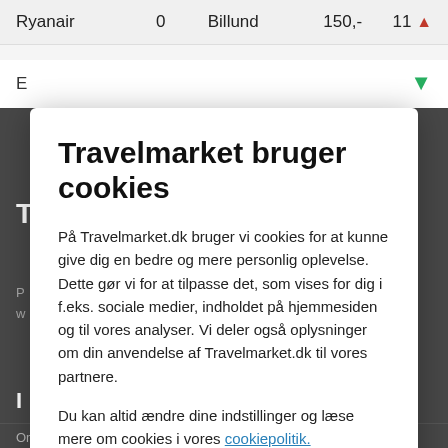| Airline | Stops | Airport | Price | Seats |
| --- | --- | --- | --- | --- |
| Ryanair | 0 | Billund | 150,- | 11 ↑ |
[Figure (screenshot): Partial row of a flight listing showing 'E' and a green down-arrow, partially obscured by modal overlay]
Travelmarket bruger cookies
På Travelmarket.dk bruger vi cookies for at kunne give dig en bedre og mere personlig oplevelse. Dette gør vi for at tilpasse det, som vises for dig i f.eks. sociale medier, indholdet på hjemmesiden og til vores analyser. Vi deler også oplysninger om din anvendelse af Travelmarket.dk til vores partnere.
Du kan altid ændre dine indstillinger og læse mere om cookies i vores cookiepolitik.
KUN NØDVENDIGE
TILLAD ALLE
⚙ VIS DETALJER
T
I
Om Travelmarket
Annoncer